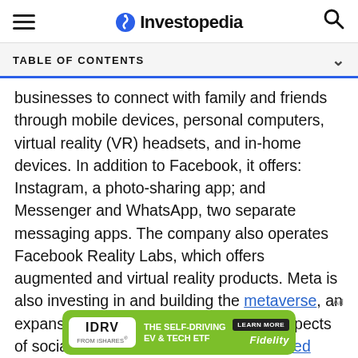Investopedia
TABLE OF CONTENTS
businesses to connect with family and friends through mobile devices, personal computers, virtual reality (VR) headsets, and in-home devices. In addition to Facebook, it offers: Instagram, a photo-sharing app; and Messenger and WhatsApp, two separate messaging apps. The company also operates Facebook Reality Labs, which offers augmented and virtual reality products. Meta is also investing in and building the metaverse, an expansive virtual world that combines aspects of social media, online gaming, augmented reality (AR), VR, and cryptocurrencies.[11]
[Figure (photo): IDRV iShares advertisement banner: 'THE SELF-DRIVING EV & TECH ETF' with Fidelity branding and a LEARN MORE button on a green background]